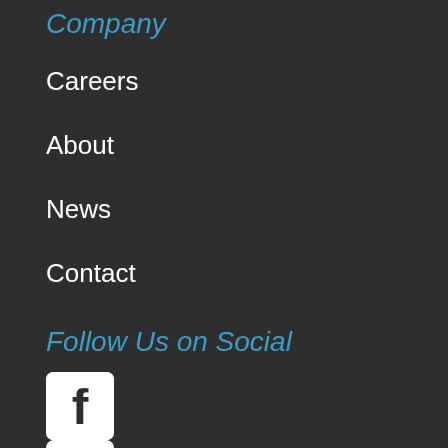Company
Careers
About
News
Contact
Follow Us on Social
[Figure (logo): Facebook icon - white F on blue/dark square with rounded corners]
[Figure (logo): Twitter icon - white bird on blue/dark square with rounded corners]
[Figure (logo): LinkedIn icon - white 'in' on blue/dark square with rounded corners]